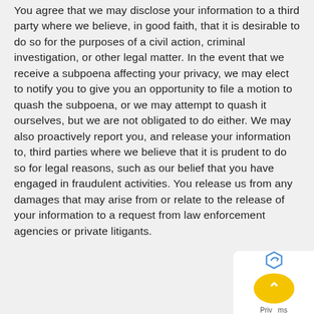You agree that we may disclose your information to a third party where we believe, in good faith, that it is desirable to do so for the purposes of a civil action, criminal investigation, or other legal matter. In the event that we receive a subpoena affecting your privacy, we may elect to notify you to give you an opportunity to file a motion to quash the subpoena, or we may attempt to quash it ourselves, but we are not obligated to do either. We may also proactively report you, and release your information to, third parties where we believe that it is prudent to do so for legal reasons, such as our belief that you have engaged in fraudulent activities. You release us from any damages that may arise from or relate to the release of your information to a request from law enforcement agencies or private litigants.